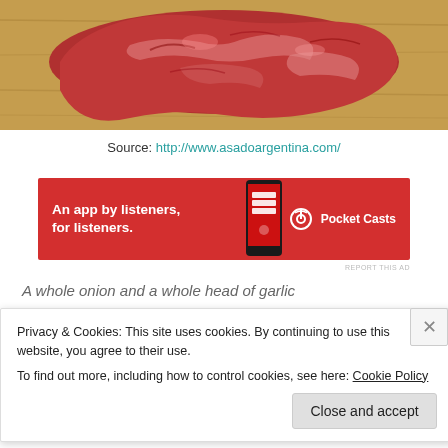[Figure (photo): Raw beef/steak cut on a wooden cutting board, reddish-pink meat with visible marbling and fat.]
Source: http://www.asadoargentina.com/
[Figure (other): Pocket Casts advertisement banner. Red background with white text: 'An app by listeners, for listeners.' Pocket Casts logo and phone image on the right.]
REPORT THIS AD
A whole onion and a whole head of garlic
Privacy & Cookies: This site uses cookies. By continuing to use this website, you agree to their use.
To find out more, including how to control cookies, see here: Cookie Policy
Close and accept